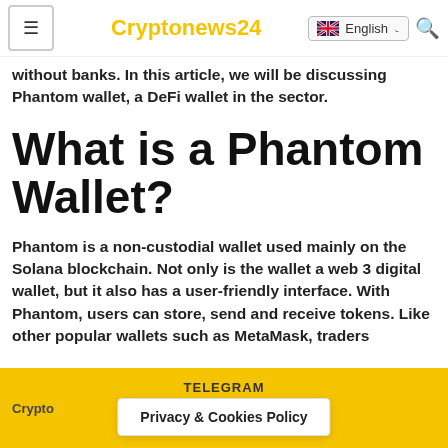≡  Cryptonews24  English
without banks. In this article, we will be discussing Phantom wallet, a DeFi wallet in the sector.
What is a Phantom Wallet?
Phantom is a non-custodial wallet used mainly on the Solana blockchain. Not only is the wallet a web 3 digital wallet, but it also has a user-friendly interface. With Phantom, users can store, send and receive tokens. Like other popular wallets such as MetaMask, traders
TELEGRAM  Crypto  Privacy & Cookies Policy